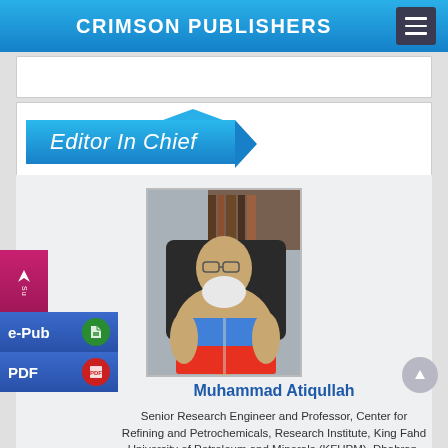CRIMSON PUBLISHERS
Editor In Chief
[Figure (photo): Portrait photo of Muhammad Atiqullah, seated, reading a journal/book]
Muhammad Atiqullah
Senior Research Engineer and Professor, Center for Refining and Petrochemicals, Research Institute, King Fahd University of Petroleum and Minerals (KFUPM), Dhahran, Saudi Arabia Research & Development in Material
e-Pub
PDF